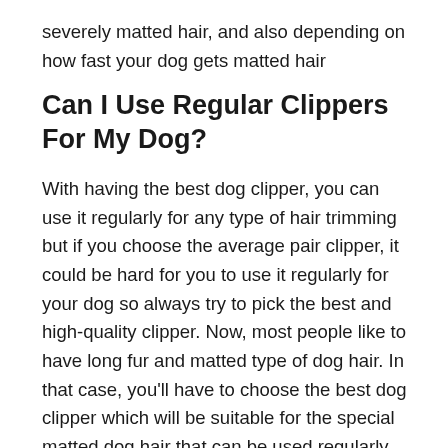severely matted hair, and also depending on how fast your dog gets matted hair
Can I Use Regular Clippers For My Dog?
With having the best dog clipper, you can use it regularly for any type of hair trimming but if you choose the average pair clipper, it could be hard for you to use it regularly for your dog so always try to pick the best and high-quality clipper. Now, most people like to have long fur and matted type of dog hair. In that case, you'll have to choose the best dog clipper which will be suitable for the special matted dog hair that can be used regularly for your dog. Therefore, a matted hair dog needs a little bit of extra care to maintain, so you can do it with your best